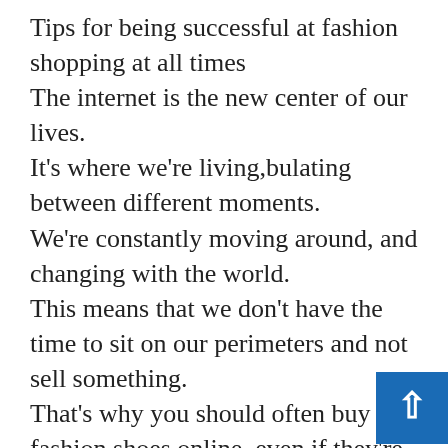Tips for being successful at fashion shopping at all times
The internet is the new center of our lives. It's where we're living,bulating between different moments. We're constantly moving around, and changing with the world. This means that we don't have the time to sit on our perimeters and not sell something. That's why you should often buy fashion shoes online, even if they're not in the store. You'll be able to find your new favorite models and styles as soon as you buy them online. And you'll be able to purchase them